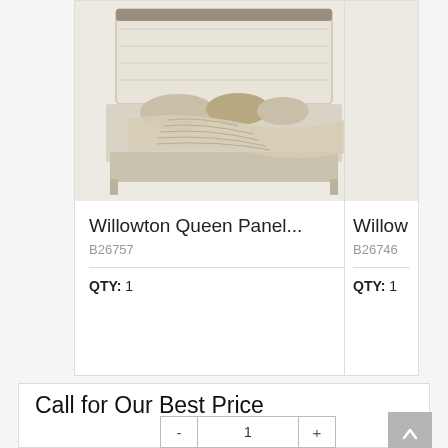[Figure (photo): Photo of a Willowton Queen Panel bed with white shiplap headboard and beige/tan bedding with throw blanket]
Willowton Queen Panel...
B26757
QTY: 1
Willow
B26746
QTY: 1
Call for Our Best Price
- 1 +